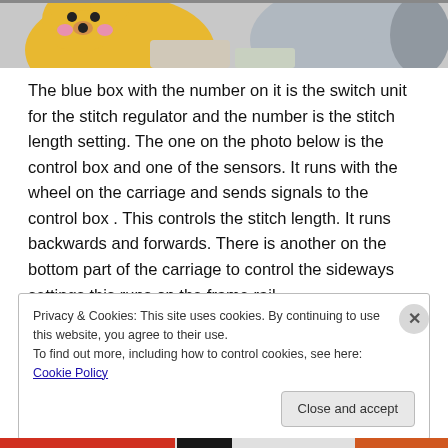[Figure (photo): Colorful stuffed animal toys photo strip at top of page — yellow dog/bear with black nose, pink details, and grey plush figures visible]
The blue box with the number on it is the switch unit for the stitch regulator and the number is the stitch length setting. The one on the photo below is the control box and one of the sensors. It runs with the wheel on the carriage and sends signals to the control box . This controls the stitch length. It runs backwards and forwards. There is another on the bottom part of the carriage to control the sideways settings this runs on the frame rail.
Privacy & Cookies: This site uses cookies. By continuing to use this website, you agree to their use.
To find out more, including how to control cookies, see here: Cookie Policy
Close and accept